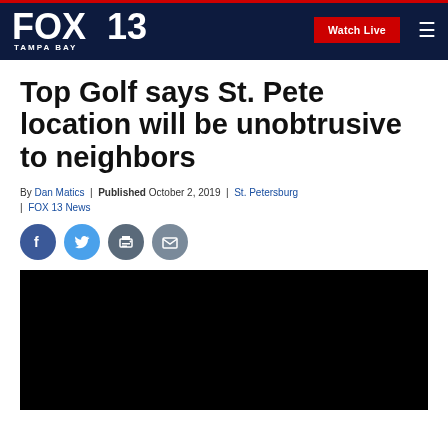FOX 13 Tampa Bay — Watch Live [nav]
Top Golf says St. Pete location will be unobtrusive to neighbors
By Dan Matics | Published October 2, 2019 | St. Petersburg | FOX 13 News
[Figure (other): Social sharing icons: Facebook, Twitter, Print, Email]
[Figure (other): Black video player placeholder]